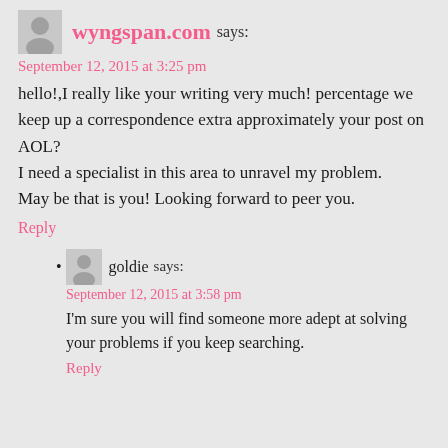wyngspan.com says:
September 12, 2015 at 3:25 pm
hello!,I really like your writing very much! percentage we keep up a correspondence extra approximately your post on AOL?
I need a specialist in this area to unravel my problem. May be that is you! Looking forward to peer you.
Reply
goldie says:
September 12, 2015 at 3:58 pm
I'm sure you will find someone more adept at solving your problems if you keep searching.
Reply